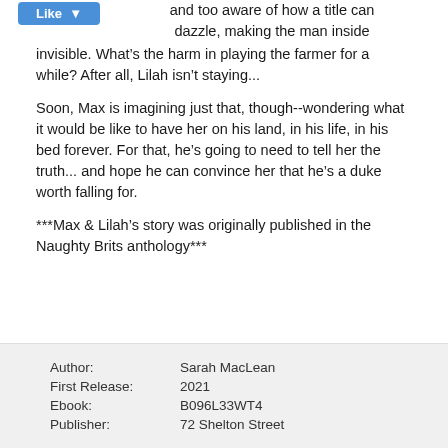[Figure (other): Blue 'Like' button with dropdown arrow]
and too aware of how a title can dazzle, making the man inside invisible. What's the harm in playing the farmer for a while? After all, Lilah isn't staying...
Soon, Max is imagining just that, though--wondering what it would be like to have her on his land, in his life, in his bed forever. For that, he's going to need to tell her the truth... and hope he can convince her that he's a duke worth falling for.
***Max & Lilah's story was originally published in the Naughty Brits anthology***
| Author: | Sarah MacLean |
| First Release: | 2021 |
| Ebook: | B096L33WT4 |
| Publisher: | 72 Shelton Street |